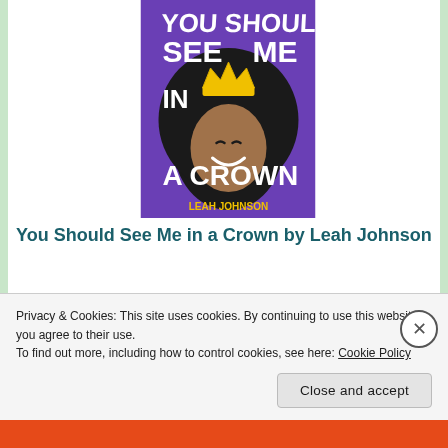[Figure (illustration): Book cover of 'You Should See Me in a Crown' by Leah Johnson — purple background with a young Black woman smiling, wearing a crown, with bold white hand-lettered title text and yellow crown graphic.]
You Should See Me in a Crown by Leah Johnson
Whilst I haven't quite finished the audiobook yet (because I am the worst with audiobooks and need to replay sections whenever I get distracted), what I
Privacy & Cookies: This site uses cookies. By continuing to use this website, you agree to their use.
To find out more, including how to control cookies, see here: Cookie Policy
Close and accept